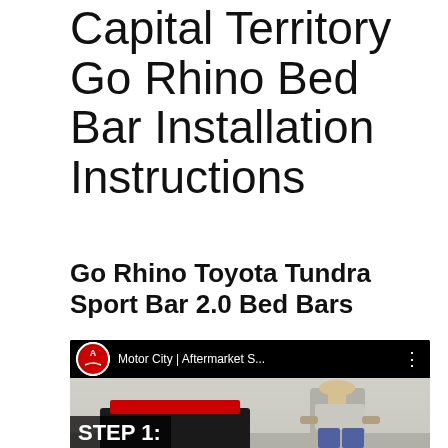Capital Territory Go Rhino Bed Bar Installation Instructions
Go Rhino Toyota Tundra Sport Bar 2.0 Bed Bars
[Figure (screenshot): YouTube video thumbnail showing a person leaning over a truck bed, with a YouTube channel header bar reading 'Motor City | Aftermarket S...' and a 'STEP 1:' overlay label in the lower left.]